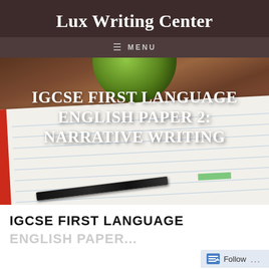Lux Writing Center
≡  MENU
[Figure (photo): Hero banner image showing a notebook with red cover, a green cup/bowl, and a pen on a wooden table surface, with overlaid text reading 'IGCSE FIRST LANGUAGE ENGLISH PAPER 2: NARRATIVE WRITING']
IGCSE FIRST LANGUAGE
ENGLISH PAPER...